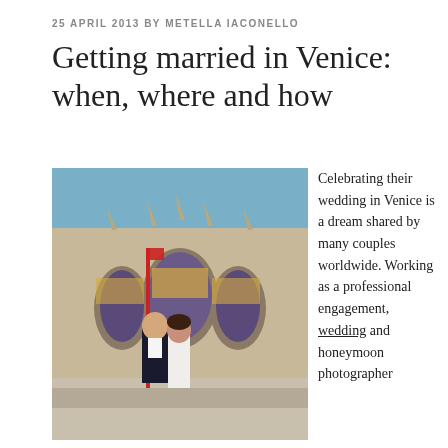25 APRIL 2013 BY METELLA IACONELLO
Getting married in Venice: when, where and how
[Figure (photo): A couple standing in front of the Basilica di San Marco in Venice, Italy. The man is wearing a dark suit and the woman is in a white dress. Crowds of tourists are visible in the background under a bright blue sky.]
Celebrating their wedding in Venice is a dream shared by many couples worldwide. Working as a professional engagement, wedding and honeymoon photographer